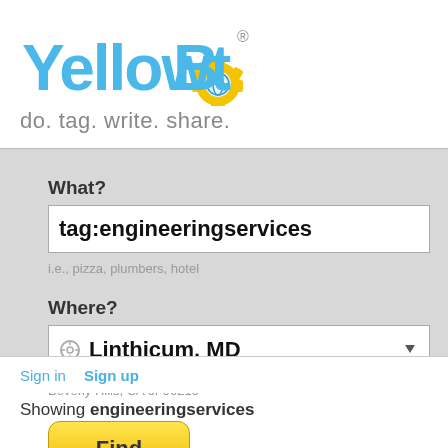[Figure (logo): YellowBot logo with yellow gear/bot icon and blue text]
do. tag. write. share.
What?
tag:engineeringservices
i.e., pizza, plumbers, hotel
Where?
Linthicum, MD
Beverly Hills, CA or 90210
Find
Sign in
Sign up
Showing engineeringservices